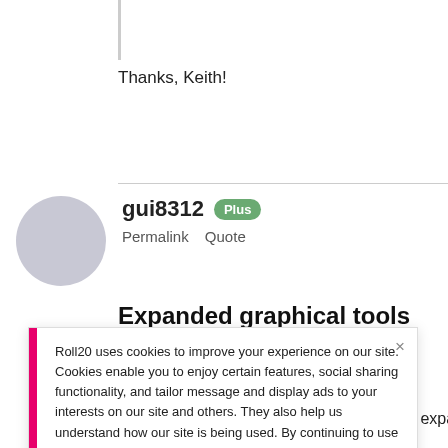Thanks, Keith!
gui8312  Plus
Permalink  Quote
Expanded graphical tools
Roll20 uses cookies to improve your experience on our site. Cookies enable you to enjoy certain features, social sharing functionality, and tailor message and display ads to your interests on our site and others. They also help us understand how our site is being used. By continuing to use our site, you consent to our use of cookies. Update your cookie preferences here.
In a few words: Have you ever considered expa
maps?